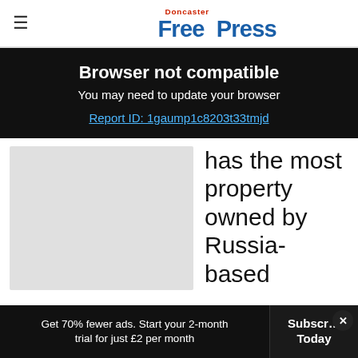Doncaster Free Press
Browser not compatible
You may need to update your browser
Report ID: 1gaump1c8203t33tmjd
[Figure (photo): Gray placeholder image for article photo]
has the most property owned by Russia-based
individuals, at 87
Get 70% fewer ads. Start your 2-month trial for just £2 per month
Subscribe Today